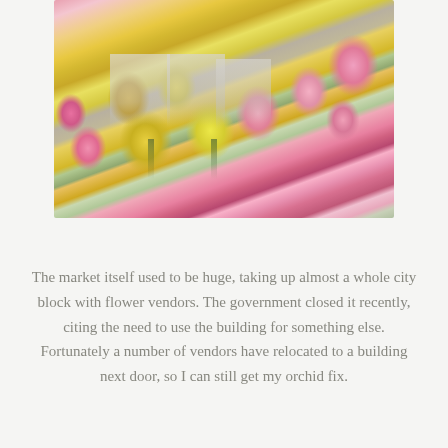[Figure (photo): Overhead view of multiple flower bouquets wrapped in white/gray paper, showing yellow roses, pink roses, coral/salmon roses, and bright pink roses arranged together at a flower market.]
The market itself used to be huge, taking up almost a whole city block with flower vendors. The government closed it recently, citing the need to use the building for something else. Fortunately a number of vendors have relocated to a building next door, so I can still get my orchid fix.